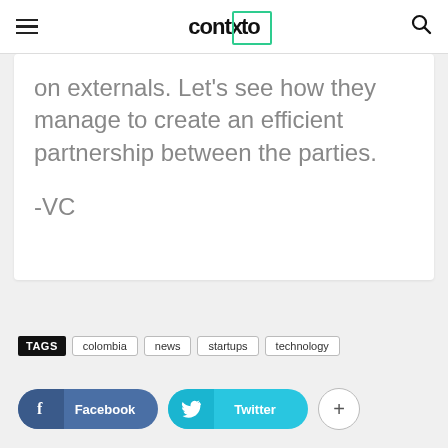contxto
on externals. Let's see how they manage to create an efficient partnership between the parties.
-VC
TAGS  colombia  news  startups  technology
Facebook  Twitter  +